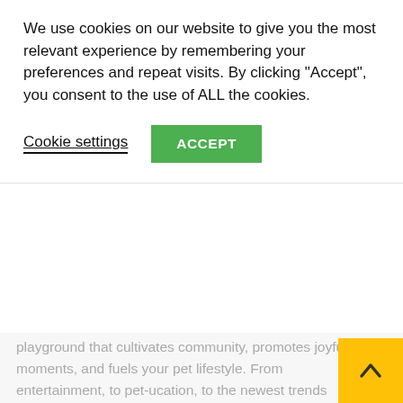We use cookies on our website to give you the most relevant experience by remembering your preferences and repeat visits. By clicking “Accept”, you consent to the use of ALL the cookies.
Cookie settings
ACCEPT
playground that cultivates community, promotes joyful moments, and fuels your pet lifestyle. From entertainment, to pet-ucation, to the newest trends and products, and [...]
[Figure (photo): Photo of a dog (appears to be a Weimaraner puppy or similar breed) looking at the camera outdoors.]
Nutrients Not Ingredients #Shorts
In Pets Health
August 30, 2022
Do you know the Secret to a healthy – Find out in my FREE 7 step guide https://ourpetshealth.com/healthchecklist Find my top recommended products here: